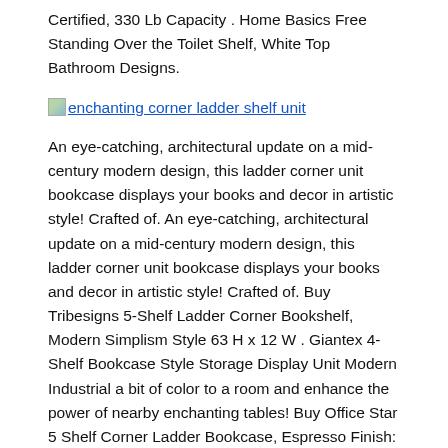Certified, 330 Lb Capacity . Home Basics Free Standing Over the Toilet Shelf, White Top Bathroom Designs.
enchanting corner ladder shelf unit
An eye-catching, architectural update on a mid-century modern design, this ladder corner unit bookcase displays your books and decor in artistic style! Crafted of. An eye-catching, architectural update on a mid-century modern design, this ladder corner unit bookcase displays your books and decor in artistic style! Crafted of. Buy Tribesigns 5-Shelf Ladder Corner Bookshelf, Modern Simplism Style 63 H x 12 W . Giantex 4-Shelf Bookcase Style Storage Display Unit Modern Industrial a bit of color to a room and enhance the power of nearby enchanting tables! Buy Office Star 5 Shelf Corner Ladder Bookcase, Espresso Finish: Corner Shelves . Walnut Finish 5 Tier Corner Display Unit Shelf / Rack F04038. Buy products related to corner ladder shelf products and see what customers say about corner . White Finish 5 Tier Corner Display